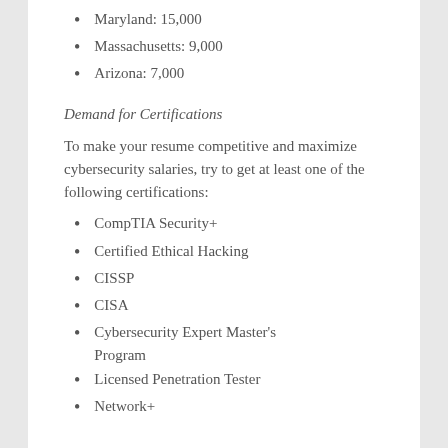Maryland: 15,000
Massachusetts: 9,000
Arizona: 7,000
Demand for Certifications
To make your resume competitive and maximize cybersecurity salaries, try to get at least one of the following certifications:
CompTIA Security+
Certified Ethical Hacking
CISSP
CISA
Cybersecurity Expert Master's Program
Licensed Penetration Tester
Network+